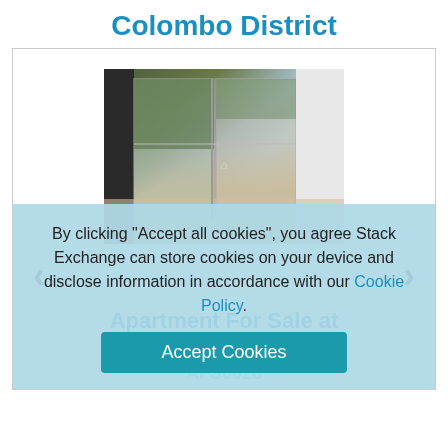Colombo District
[Figure (photo): Interior photo of an empty apartment room with glass sliding doors leading to a balcony, reflective tile floor, and white walls]
Apartment For Sale at
Global Grand Residencies AFS0628
By clicking "Accept all cookies", you agree Stack Exchange can store cookies on your device and disclose information in accordance with our Cookie Policy.
Accept Cookies